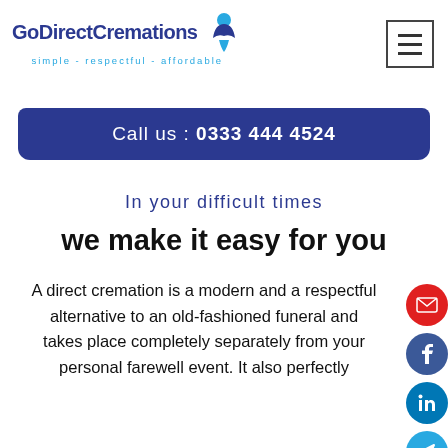[Figure (logo): GoDirectCremations logo with blue text and a blue/teal figure icon, tagline: simple - respectful - affordable]
[Figure (other): Hamburger menu icon (three horizontal lines) in a square border]
Call us : 0333 444 4524
In your difficult times
we make it easy for you
A direct cremation is a modern and a respectful alternative to an old-fashioned funeral and takes place completely separately from your personal farewell event. It also perfectly